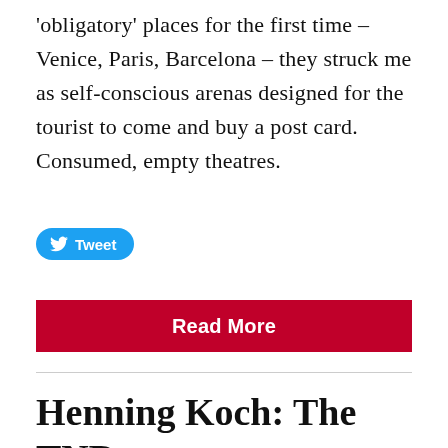'obligatory' places for the first time – Venice, Paris, Barcelona – they struck me as self-conscious arenas designed for the tourist to come and buy a post card. Consumed, empty theatres.
[Figure (other): Twitter Tweet button with bird icon]
Read More
Henning Koch: The TNB